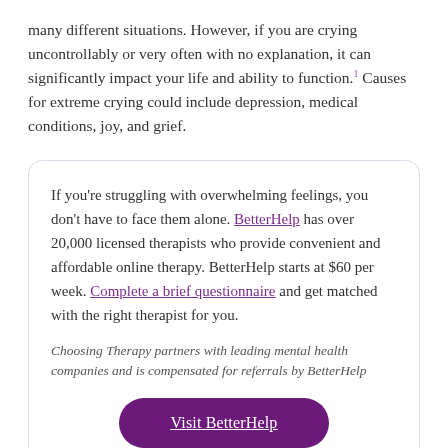many different situations. However, if you are crying uncontrollably or very often with no explanation, it can significantly impact your life and ability to function.1 Causes for extreme crying could include depression, medical conditions, joy, and grief.
If you're struggling with overwhelming feelings, you don't have to face them alone. BetterHelp has over 20,000 licensed therapists who provide convenient and affordable online therapy. BetterHelp starts at $60 per week. Complete a brief questionnaire and get matched with the right therapist for you.

Choosing Therapy partners with leading mental health companies and is compensated for referrals by BetterHelp
Visit BetterHelp